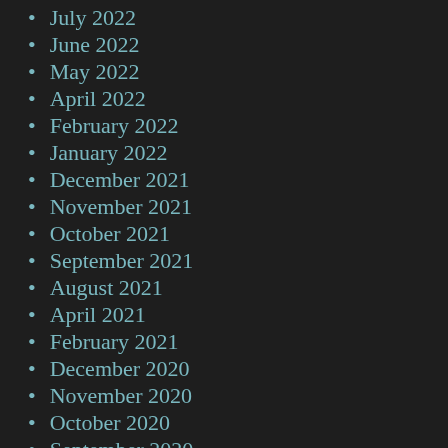July 2022
June 2022
May 2022
April 2022
February 2022
January 2022
December 2021
November 2021
October 2021
September 2021
August 2021
April 2021
February 2021
December 2020
November 2020
October 2020
September 2020